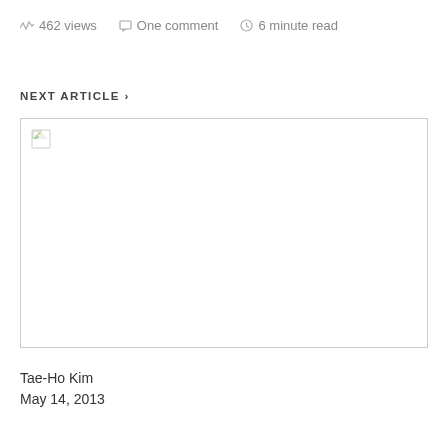462 views   One comment   6 minute read
NEXT ARTICLE >
[Figure (photo): Broken/missing image placeholder with border]
Tae-Ho Kim
May 14, 2013